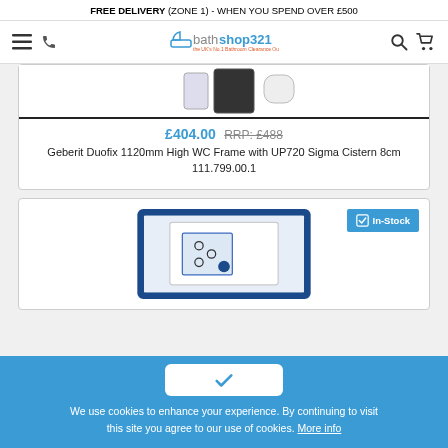FREE DELIVERY (ZONE 1) - WHEN YOU SPEND OVER £500
[Figure (logo): bathshop321 logo with tagline 'the UK's No.1 Bathroom Clearance Outlet']
[Figure (photo): Product image - Geberit WC Frame cistern parts shown from above]
£404.00 RRP: £488
Geberit Duofix 1120mm High WC Frame with UP720 Sigma Cistern 8cm 111.799.00.1
[Figure (photo): Geberit WC frame product image showing blue frame with cistern mechanism]
We use cookies to enhance your experience. By continuing to visit this site you agree to our use of cookies. More info